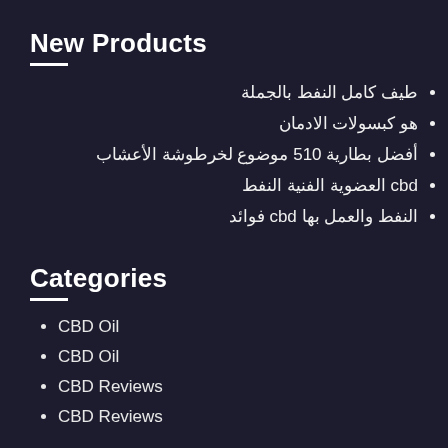New Products
طيف كامل النفط بالجملة
هو كبسولات الادمان
أفضل بطارية 510 موضوع لخرطوشة الأعشاب
cbd العضوية الفنية النفط
النفط والعمل بها cbd فوائد
Categories
CBD Oil
CBD Oil
CBD Reviews
CBD Reviews